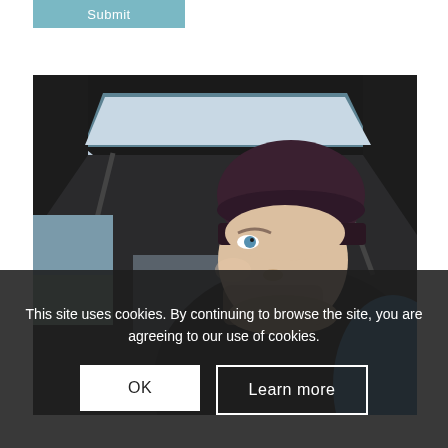[Figure (other): A teal/light-blue rectangular button labeled Submit at the top left of the page]
[Figure (photo): A man wearing a dark knit beanie hat looking upward, standing in front of an open car trunk/hatchback with a coastal landscape visible in the background]
This site uses cookies. By continuing to browse the site, you are agreeing to our use of cookies.
[Figure (other): Cookie consent dialog with OK button (white background) and Learn more button (dark outline on dark overlay)]